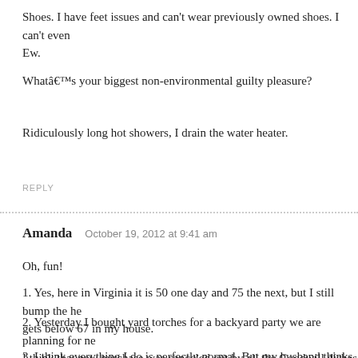Shoes. I have feet issues and can't wear previously owned shoes. I can't even Ew.
Whatâs your biggest non-environmental guilty pleasure?
Ridiculously long hot showers, I drain the water heater.
REPLY
Amanda   October 19, 2012 at 9:41 am
Oh, fun!
1. Yes, here in Virginia it is 50 one day and 75 the next, but I still bump the he gets below 67 in my house.
2. Yesterday I bought yard torches for a backyard party we are planning for ne I think that new purchase was canceled out by all the Goodwill dishes I bough week to avoid having to buy disposables for the party.
3. I think everything I do is perfectly normal. But my husband thinks it is weir